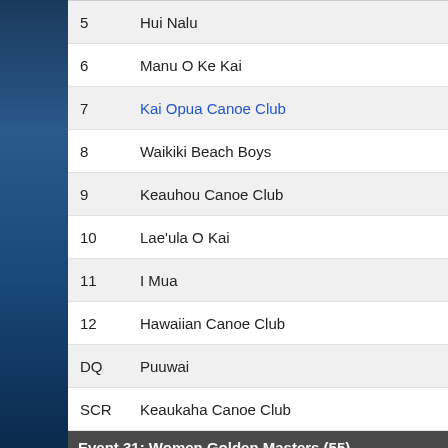| Rank | Club |
| --- | --- |
| 5 | Hui Nalu |
| 6 | Manu O Ke Kai |
| 7 | Kai Opua Canoe Club |
| 8 | Waikiki Beach Boys |
| 9 | Keauhou Canoe Club |
| 10 | Lae'ula O Kai |
| 11 | I Mua |
| 12 | Hawaiian Canoe Club |
| DQ | Puuwai |
| SCR | Keaukaha Canoe Club |
Event 31: Women Golden Masters (55)
| Rank | Club |
| --- | --- |
| 1 | Outrigger |
|  | (Katy Bourne, Paula Crabb, Kimberley Darling, Linda Fernandez, |
| 2 | Kailua |
| 3 | Hui Nalu |
| 4 | Puna Canoe Club |
| 5 | Lanikai |
| 6 | Wa'akapaemua |